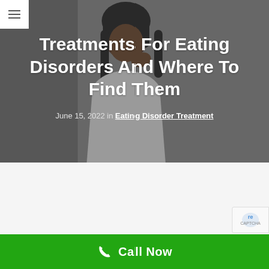[Figure (photo): Woman in white clothing holding her hand near her mouth, gray background, hero banner image for eating disorders article]
Treatments For Eating Disorders And Where To Find Them
June 15, 2022 in Eating Disorder Treatment
Call Now